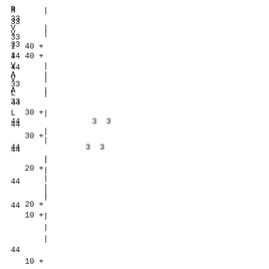R      |
33
V      |
33
I  40 +
44
V      |
A      |
33
L      |
44
   30 +
44              3  3
       |
       |
44
       |
   20 +
       |
       |
       |
44
   10 +